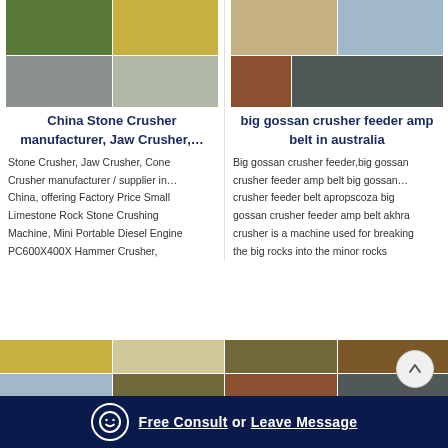[Figure (photo): Collage of 4 photos showing stone crusher equipment and mining operations - green crawler crusher, conveyor belt, construction site, people gathered]
[Figure (photo): Collage of 4 photos showing stone crusher and mining quarry operations from Australia]
China Stone Crusher manufacturer, Jaw Crusher,…
big gossan crusher feeder amp belt in australia
Stone Crusher, Jaw Crusher, Cone Crusher manufacturer / supplier in… China, offering Factory Price Small Limestone Rock Stone Crushing Machine, Mini Portable Diesel Engine PC600X400X Hammer Crusher,
Big gossan crusher feeder,big gossan crusher feeder amp belt big gossan… crusher feeder belt apropscoza big gossan crusher feeder amp belt akhra crusher is a machine used for breaking the big rocks into the minor rocks
[Figure (photo): Collage of photos showing large yellow conveyor/crane equipment and white industrial silo structure]
[Figure (photo): Collage of photos showing mining crusher equipment in mountainous and open-pit settings]
Free Consult  or  Leave Message